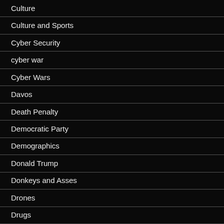Culture
Culture and Sports
Cyber Security
cyber war
Cyber Wars
Davos
Death Penalty
Democratic Party
Demographics
Donald Trump
Donkeys and Asses
Drones
Drugs